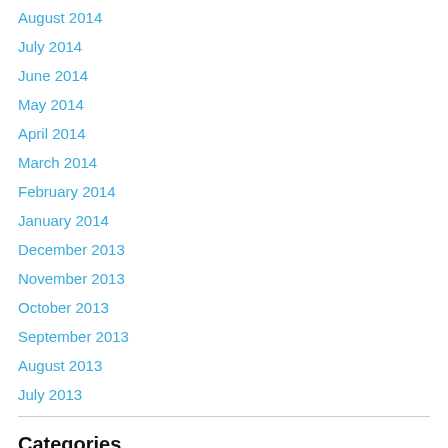August 2014
July 2014
June 2014
May 2014
April 2014
March 2014
February 2014
January 2014
December 2013
November 2013
October 2013
September 2013
August 2013
July 2013
Categories
18th century French Decorative Arts
20th Century British Art